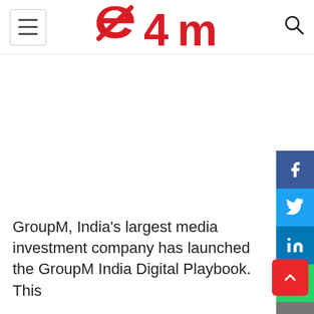e4m logo with hamburger menu and search icon
[Figure (logo): e4m website logo in red, center of header]
[Figure (infographic): Social media share buttons: Facebook, Twitter, LinkedIn, WhatsApp, Email on right side]
GroupM, India's largest media investment company has launched the GroupM India Digital Playbook. This